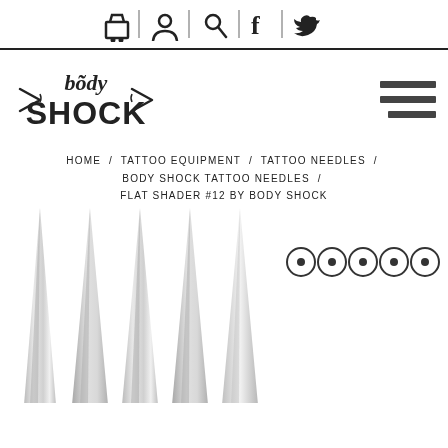Navigation icons: cart, user, search, facebook, twitter
[Figure (logo): Body Shock logo - stylized text with arrows]
[Figure (illustration): Hamburger menu icon (three horizontal lines)]
HOME / TATTOO EQUIPMENT / TATTOO NEEDLES / BODY SHOCK TATTOO NEEDLES / FLAT SHADER #12 BY BODY SHOCK
[Figure (photo): Close-up of tattoo needle tips - five sharp metallic needles pointing upward]
[Figure (illustration): Five circular thumbnail selectors arranged horizontally, each with a dot in the center]